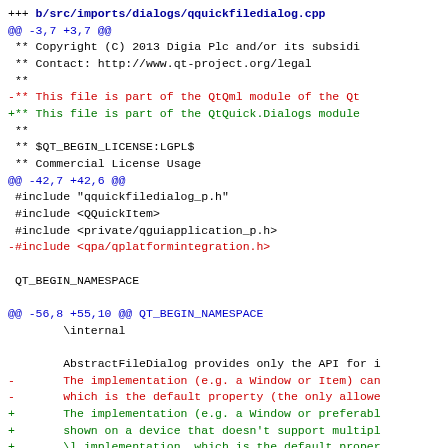[Figure (screenshot): Code diff showing changes to src/imports/dialogs/qquickfiledialog.cpp, including copyright header changes, include changes, and documentation comment changes in a unified diff format with +/- lines colored green/red and @@ hunk headers in blue.]